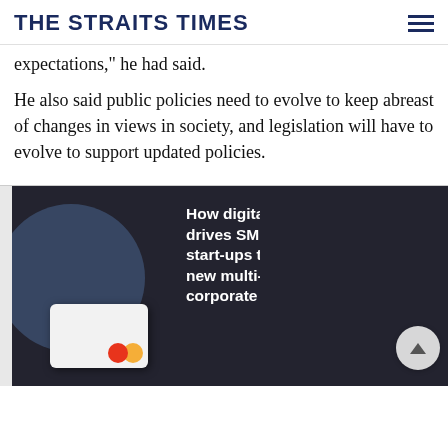THE STRAITS TIMES
expectations," he had said.
He also said public policies need to evolve to keep abreast of changes in views in society, and legislation will have to evolve to support updated policies.
[Figure (illustration): Advertisement image showing a hand holding a white credit card against a dark background with circular graphic elements and white text reading: How digitalisation drives SMEs and start-ups to leverage new multi-currency corporate banking]